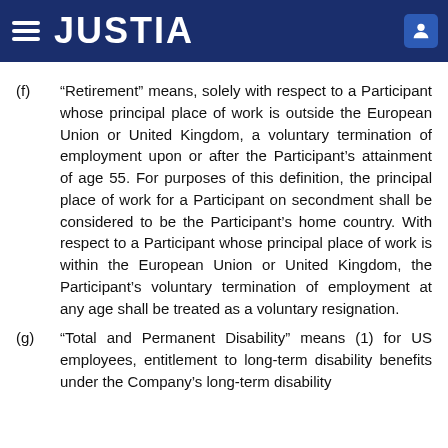JUSTIA
(f) “Retirement” means, solely with respect to a Participant whose principal place of work is outside the European Union or United Kingdom, a voluntary termination of employment upon or after the Participant’s attainment of age 55. For purposes of this definition, the principal place of work for a Participant on secondment shall be considered to be the Participant’s home country. With respect to a Participant whose principal place of work is within the European Union or United Kingdom, the Participant’s voluntary termination of employment at any age shall be treated as a voluntary resignation.
(g) “Total and Permanent Disability” means (1) for US employees, entitlement to long-term disability benefits under the Company’s long-term disability